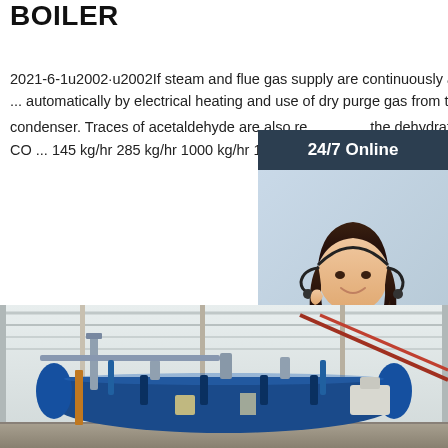BOILER
2021-6-1u2002·u2002If steam and flue gas supply are continuously available ... automatically by electrical heating and use of dry purge gas from the CO2 condenser. Traces of acetaldehyde are also removed in the dehydrator. The CO ... 145 kg/hr 285 kg/hr 1000 kg/hr 1500 kg/hr 2000 kg/hr. Created Da
[Figure (infographic): 24/7 Online chat widget with woman wearing headset, dark navy background bar, and orange QUOTATION button]
Get Price
[Figure (photo): Industrial boiler equipment inside a factory/warehouse with blue piping and industrial steel structure]